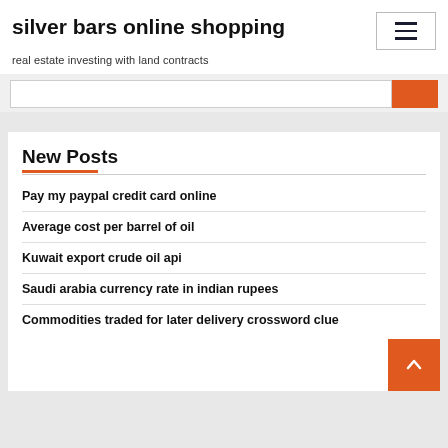silver bars online shopping
real estate investing with land contracts
New Posts
Pay my paypal credit card online
Average cost per barrel of oil
Kuwait export crude oil api
Saudi arabia currency rate in indian rupees
Commodities traded for later delivery crossword clue